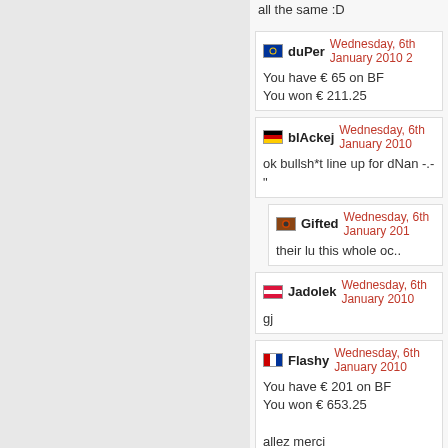all the same :D
duPer Wednesday, 6th January 2010 2...
You have € 65 on BF
You won € 211.25
blAckej Wednesday, 6th January 2010
ok bullsh*t line up for dNan -.-"
Gifted Wednesday, 6th January 201...
their lu this whole oc..
Jadolek Wednesday, 6th January 2010
gj
Flashy Wednesday, 6th January 2010
You have € 201 on BF
You won € 653.25

allez merci
euphorea Wednesday, 6th January 201...
You have € 10 on nl dNan
You lost
al7 Wednesday, 6th January 2010 22:4...